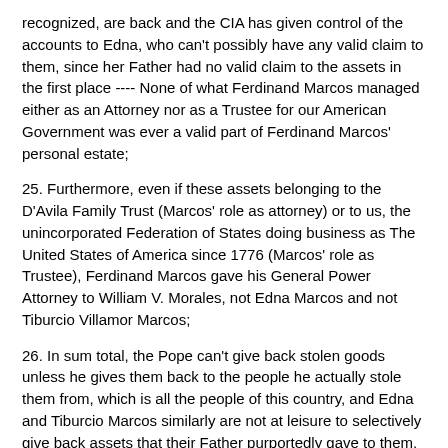recognized, are back and the CIA has given control of the accounts to Edna, who can't possibly have any valid claim to them, since her Father had no valid claim to the assets in the first place ---- None of what Ferdinand Marcos managed either as an Attorney nor as a Trustee for our American Government was ever a valid part of Ferdinand Marcos' personal estate;
25. Furthermore, even if these assets belonging to the D'Avila Family Trust (Marcos' role as attorney) or to us, the unincorporated Federation of States doing business as The United States of America since 1776 (Marcos' role as Trustee), Ferdinand Marcos gave his General Power Attorney to William V. Morales, not Edna Marcos and not Tiburcio Villamor Marcos;
26. In sum total, the Pope can't give back stolen goods unless he gives them back to the people he actually stole them from, which is all the people of this country, and Edna and Tiburcio Marcos similarly are not at leisure to selectively give back assets that their Father purportedly gave to them, when their Father had no right to the assets in the first place, and when he did not grant his Power of Attorney to them;
27. What we are witnessing is two groups of pirates, the Vatican Pirates and the Filipino Pirates, trying to work out a deal where they give back property that belongs to the heir of the D'Avila